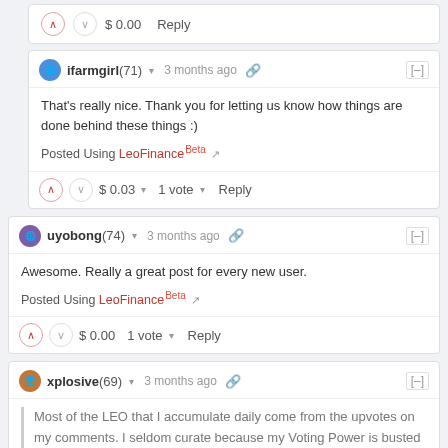$ 0.00   Reply
ifarmgirl (71) ▾  3 months ago  [–]
That's really nice. Thank you for letting us know how things are done behind these things :)
Posted Using LeoFinance Beta ↗
$ 0.03 ▾  1 vote ▾  Reply
uyobong (74) ▾  3 months ago  [–]
Awesome. Really a great post for every new user.
Posted Using LeoFinance Beta ↗
$ 0.00  1 vote ▾  Reply
xplosive (69) ▾  3 months ago  [–]
Most of the LEO that I accumulate daily come from the upvotes on my comments. I seldom curate because my Voting Power is busted (way below 70%) and I'm still struggling to refill it to stay above 80%.